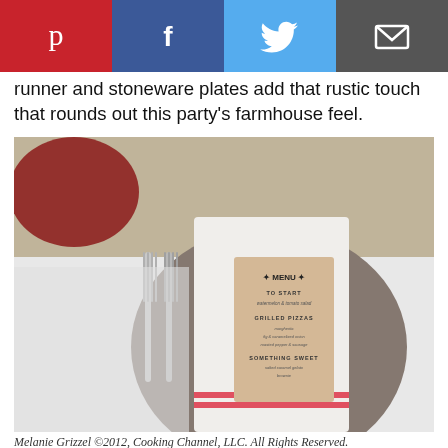[Figure (other): Social media share buttons: Pinterest (red), Facebook (blue), Twitter (light blue), Email (dark grey)]
runner and stoneware plates add that rustic touch that rounds out this party's farmhouse feel.
[Figure (photo): A place setting with a white napkin folded on a grey stoneware plate, with a small kraft paper menu card on top showing MENU, TO START (watermelon & tomato salad), GRILLED PIZZAS (margherita, fig & caramelized onion, roasted pepper & sausage), SOMETHING SWEET (salted caramel gelato, brownie). Two silver forks to the left. Burlap table runner visible underneath.]
Melanie Grizzel ©2012, Cooking Channel, LLC. All Rights Reserved.